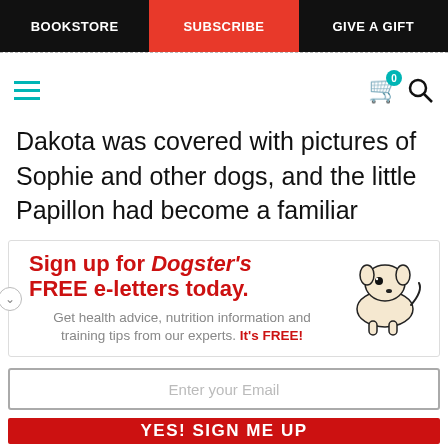BOOKSTORE | SUBSCRIBE | GIVE A GIFT
Dakota was covered with pictures of Sophie and other dogs, and the little Papillon had become a familiar
[Figure (infographic): Dogster newsletter signup promo box with illustrated dog graphic. Headline: Sign up for Dogster's FREE e-letters today. Subtext: Get health advice, nutrition information and training tips from our experts. It's FREE!]
Enter your Email
YES! SIGN ME UP